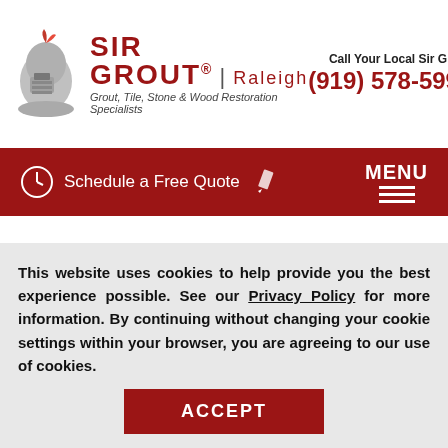[Figure (logo): Sir Grout Raleigh logo with knight helmet, company name in dark red, tagline 'Grout, Tile, Stone & Wood Restoration Specialists']
Call Your Local Sir Grout Today
(919) 578-5999
[Figure (infographic): Dark red navigation bar with clock icon, 'Schedule a Free Quote', pencil icon, and MENU hamburger icon]
Wake Forest Stone Cleaning
Renowned as the first preference for Wake Forest Stone Cleaning, at Sir Grout Raleigh we are confident that our Wake
This website uses cookies to help provide you the best experience possible. See our Privacy Policy for more information. By continuing without changing your cookie settings within your browser, you are agreeing to our use of cookies.
ACCEPT